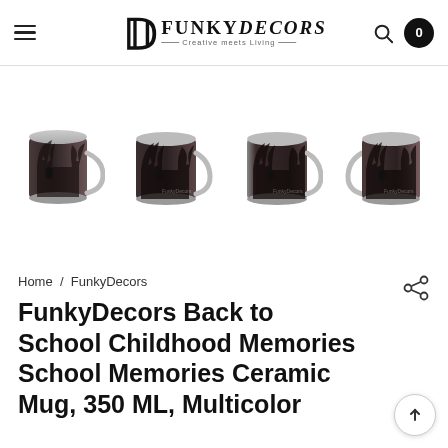FunkyDecors — Creative meets Living
[Figure (photo): Four product images of FunkyDecors Ceramic Mug with dark childhood memories design, shown from different angles]
Home / FunkyDecors
FunkyDecors Back to School Childhood Memories School Memories Ceramic Mug, 350 ML, Multicolor